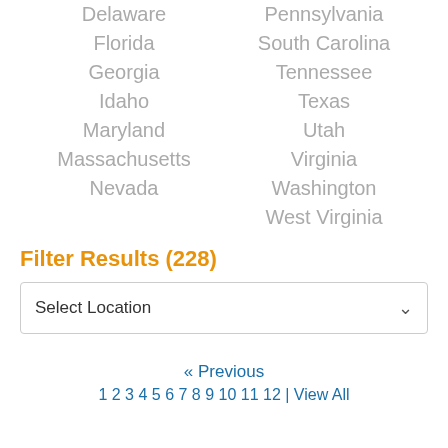Delaware
Florida
Georgia
Idaho
Maryland
Massachusetts
Nevada
Pennsylvania
South Carolina
Tennessee
Texas
Utah
Virginia
Washington
West Virginia
Filter Results (228)
Select Location
« Previous
1 2 3 4 5 6 7 8 9 10 11 12 | View All